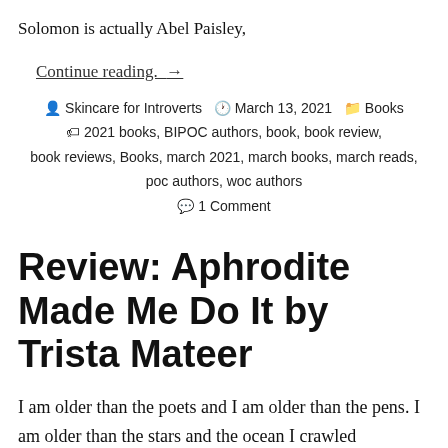Solomon is actually Abel Paisley,
Continue reading. →
Skincare for Introverts   March 13, 2021   Books
2021 books, BIPOC authors, book, book review, book reviews, Books, march 2021, march books, march reads, poc authors, woc authors
1 Comment
Review: Aphrodite Made Me Do It by Trista Mateer
I am older than the poets and I am older than the pens. I am older than the stars and the ocean I crawled